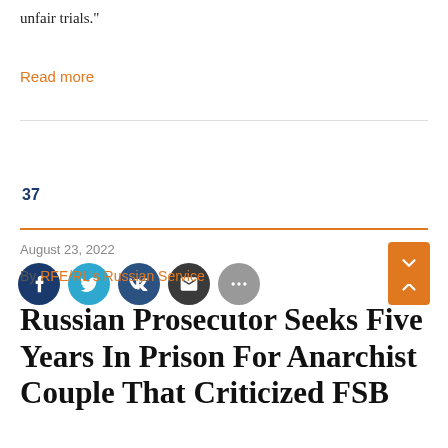unfair trials."
Read more
[Figure (other): Social sharing buttons: Facebook, Twitter, VK, Email, More (ellipsis), and a close (X) button on the right]
37
August 23, 2022
By RFE/RL's Russian Service
Russian Prosecutor Seeks Five Years In Prison For Anarchist Couple That Criticized FSB